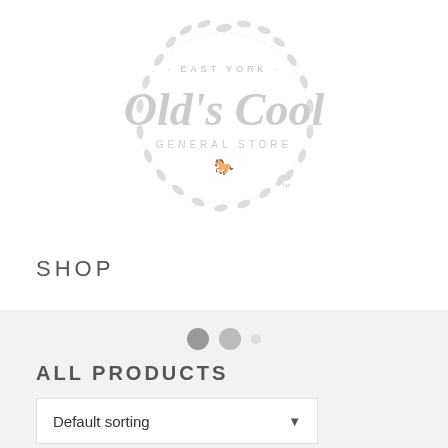[Figure (logo): Old's Cool General Store logo — circular wreath of leaves and branches surrounding script text 'Old's Cool' with 'EAST YORK' at top, 'GENERAL STORE' below, and a small horse silhouette. Light grey color. TM mark.]
SHOP
ALL PRODUCTS
Default sorting